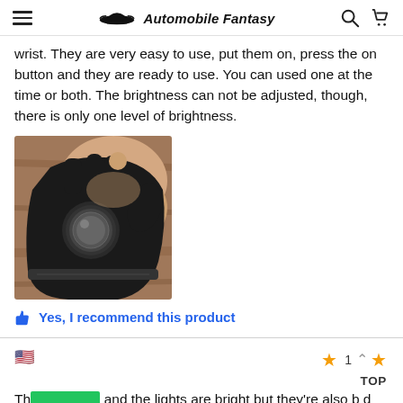Automobile Fantasy
wrist. They are very easy to use, put them on, press the on button and they are ready to use. You can used one at the time or both. The brightness can not be adjusted, though, there is only one level of brightness.
[Figure (photo): A hand wearing a black glove or strap with a circular light/button on the back of the hand, resting on a wooden surface.]
Yes, I recommend this product
The [product] and the lights are bright but they're also [d] thinner than i expected
[Figure (other): Chat button overlay with messenger icon and green background]